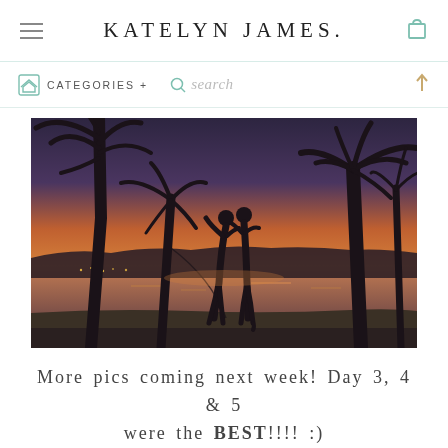KATELYN JAMES.
[Figure (screenshot): Navigation bar with home icon, CATEGORIES + link, search magnifier icon and search text, and up arrow]
[Figure (photo): Silhouette of a couple kissing at sunset on a tropical beach with palm trees framing the scene and orange/purple sky over water]
More pics coming next week! Day 3, 4 & 5 were the BEST!!!! :)